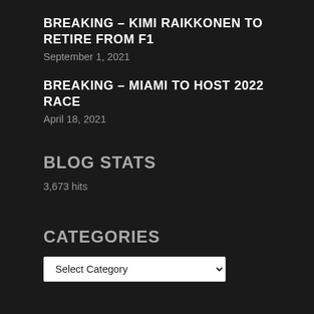BREAKING – KIMI RAIKKONEN TO RETIRE FROM F1
September 1, 2021
BREAKING – MIAMI TO HOST 2022 RACE
April 18, 2021
BLOG STATS
3,673 hits
CATEGORIES
Select Category